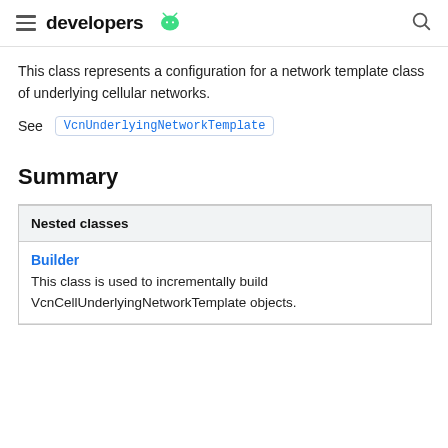developers (Android logo)
This class represents a configuration for a network template class of underlying cellular networks.
See  VcnUnderlyingNetworkTemplate
Summary
| Nested classes |
| --- |
| Builder | This class is used to incrementally build VcnCellUnderlyingNetworkTemplate objects. |
Builder
This class is used to incrementally build VcnCellUnderlyingNetworkTemplate objects.